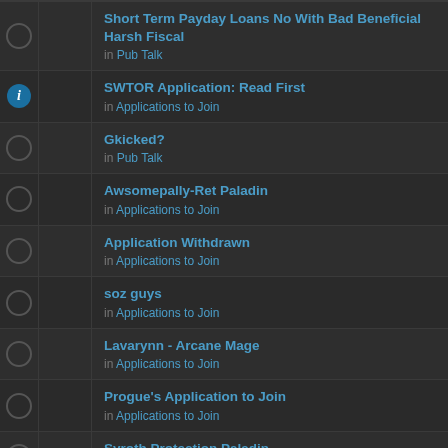Short Term Payday Loans No With Bad Beneficial Harsh Fiscal in Pub Talk
SWTOR Application: Read First in Applications to Join
Gkicked? in Pub Talk
Awsomepally-Ret Paladin in Applications to Join
Application Withdrawn in Applications to Join
soz guys in Applications to Join
Lavarynn - Arcane Mage in Applications to Join
Progue's Application to Join in Applications to Join
Syroth,Protection Paladin in Applications to Join